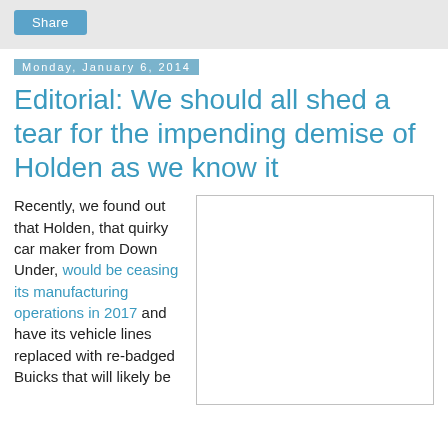Share
Monday, January 6, 2014
Editorial: We should all shed a tear for the impending demise of Holden as we know it
Recently, we found out that Holden, that quirky car maker from Down Under, would be ceasing its manufacturing operations in 2017 and have its vehicle lines replaced with re-badged Buicks that will likely...
[Figure (photo): Image placeholder (broken image) associated with the Holden article]